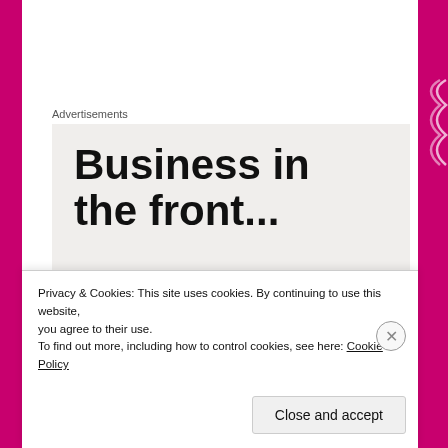Advertisements
Business in the front...
Please complete the survey by 31 December 2020 when the survey will close.
The 2020 biennial TUC Survey of Health and Safety Representatives is now online so please complete
Privacy & Cookies: This site uses cookies. By continuing to use this website, you agree to their use.
To find out more, including how to control cookies, see here: Cookie Policy
Close and accept